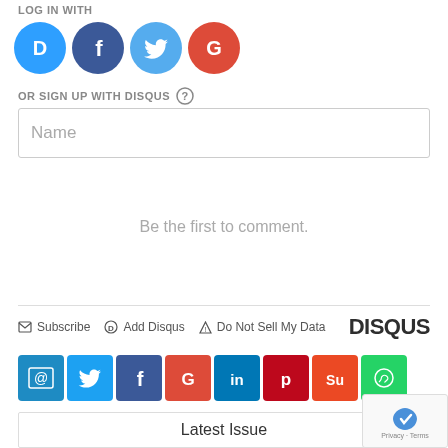LOG IN WITH
[Figure (illustration): Social login icons: Disqus (blue circle with D), Facebook (dark blue circle with f), Twitter (light blue circle with bird), Google (red circle with G)]
OR SIGN UP WITH DISQUS ?
Name
Be the first to comment.
Subscribe  Add Disqus  Do Not Sell My Data  DISQUS
[Figure (illustration): Row of 8 colored social sharing icon buttons: email (@), Twitter, Facebook, Google+, LinkedIn, Pinterest, StumbleUpon, WhatsApp]
Latest Issue